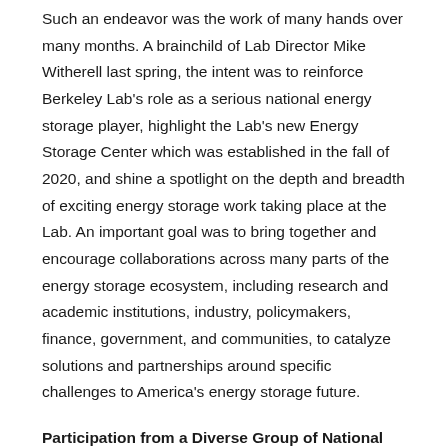Such an endeavor was the work of many hands over many months. A brainchild of Lab Director Mike Witherell last spring, the intent was to reinforce Berkeley Lab's role as a serious national energy storage player, highlight the Lab's new Energy Storage Center which was established in the fall of 2020, and shine a spotlight on the depth and breadth of exciting energy storage work taking place at the Lab. An important goal was to bring together and encourage collaborations across many parts of the energy storage ecosystem, including research and academic institutions, industry, policymakers, finance, government, and communities, to catalyze solutions and partnerships around specific challenges to America's energy storage future.
Participation from a Diverse Group of National Leaders